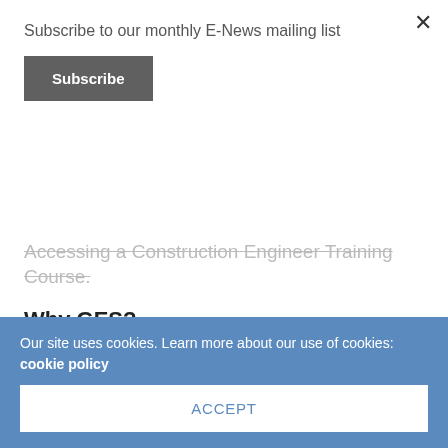Subscribe to our monthly E-News mailing list
Subscribe
×
Accessing a Construction Engineer Training Course.
Why GES?
Accessing information, or getting advice on how counterparts in our industry operate isn't easy.
The Institution of Fire Engineers have done some great work in developing an international network of 33...
Our site uses cookies. Learn more about our use of cookies: cookie policy
ACCEPT